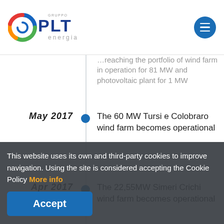Gruppo PLT energia
…reaching the portfolio of wind farm in operation for 81 MW and photovoltaic plant for 1 MW
May 2017
The 60 MW Tursi e Colobraro wind farm becomes operational
Apr 2017
The 22,55MW Simeri Crichi wind farm becomes operational
Apr 2017
Through its subsidiary "Dynamica … ergia signs a €38,1 million contract with a bank pools for the realization of the 22,55 MW…
This website uses its own and third-party cookies to improve navigation. Using the site is considered accepting the Cookie Policy More info